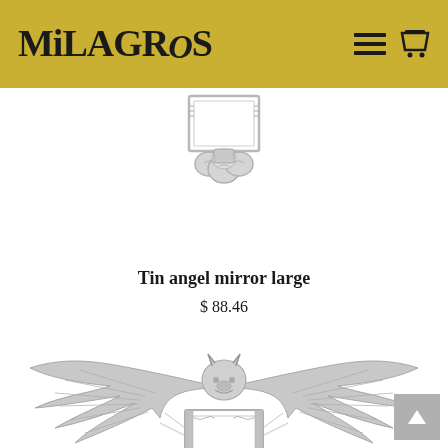MiLAGROS
[Figure (photo): Top portion of a silver tin angel mirror large product, showing the upper decorative frame with angel/cloud elements in silver metal]
Tin angel mirror large
$ 88.46
[Figure (photo): Silver tin angel mirror large product showing a decorative silver metal piece with bat wings spread wide, a horned creature head in the center top, and a rectangular mirror frame below]